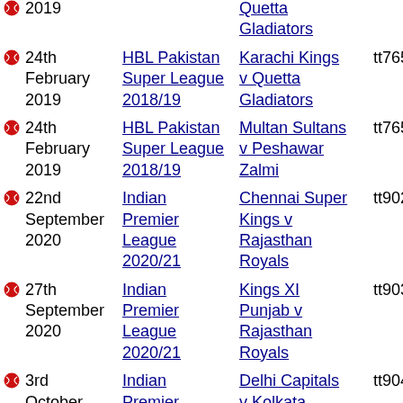2019 | HBL Pakistan Super League 2018/19 | Karachi Kings v Quetta Gladiators | tt7655
24th February 2019 | HBL Pakistan Super League 2018/19 | Multan Sultans v Peshawar Zalmi | tt7654
22nd September 2020 | Indian Premier League 2020/21 | Chennai Super Kings v Rajasthan Royals | tt9022
27th September 2020 | Indian Premier League 2020/21 | Kings XI Punjab v Rajasthan Royals | tt9030
3rd October 2020 | Indian Premier League 2020/21 | Delhi Capitals v Kolkata Knight Riders | tt9049
4th October 2020 | Indian Premier League 2020/21 | Mumbai Indians v Sunrisers | tt9053